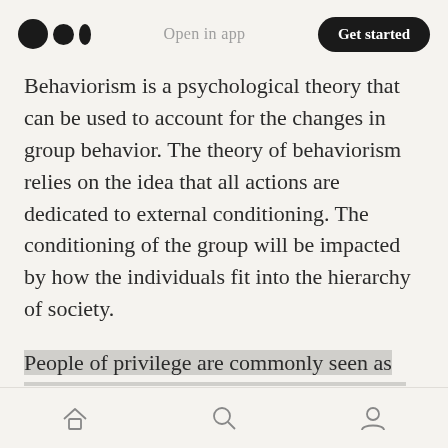Open in app | Get started
Behaviorism is a psychological theory that can be used to account for the changes in group behavior. The theory of behaviorism relies on the idea that all actions are dedicated to external conditioning. The conditioning of the group will be impacted by how the individuals fit into the hierarchy of society.
People of privilege are commonly seen as male, cis-gendered, white, and seemly rich.
Therefore, that majority privilege becomes the standard operating system, especially in groups,